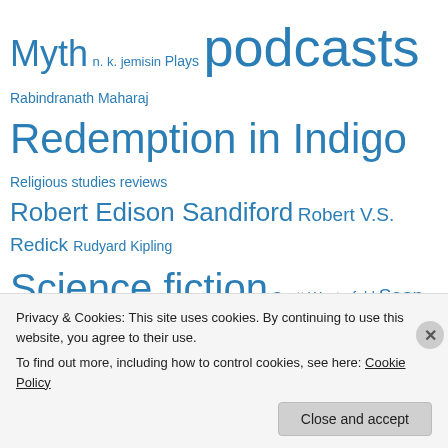Myth n. k. jemisin Plays podcasts Rabindranath Maharaj Redemption in Indigo Religious studies reviews Robert Edison Sandiford Robert V.S. Redick Rudyard Kipling Science fiction Scott Westerfeld Sean Williams SF Crossing the Gulf Shared Worlds Sharon Leach Sheri S. Tepper Small Beer Press Sociology summer vacation Ted Chiang The Best of All Possible Worlds Theology Thomas Armstrong Tiptree Award Tobias Buckell Tom
Privacy & Cookies: This site uses cookies. By continuing to use this website, you agree to their use.
To find out more, including how to control cookies, see here: Cookie Policy